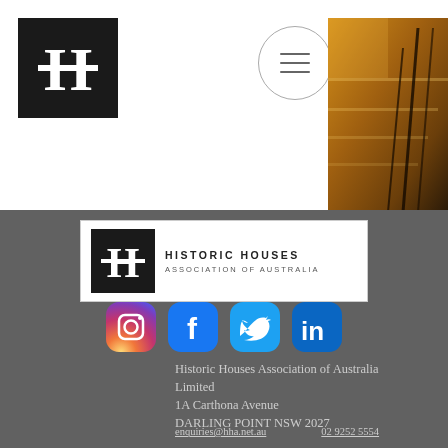[Figure (logo): Historic Houses Association H logo in black square, top left]
[Figure (photo): Hamburger/menu icon in circle]
[Figure (photo): Staircase photo in warm amber/brown tones]
[Figure (logo): Historic Houses Association of Australia full logo with H in black box and text]
[Figure (infographic): Social media icons: Instagram, Facebook, Twitter, LinkedIn]
Historic Houses Association of Australia Limited
1A Carthona Avenue
DARLING POINT  NSW  2027
enquiries@hha.net.au        02 9252 5554
ABN: 40 282 275 317
Copyright @ 2022 by Historic Houses Association of Australia Ltd